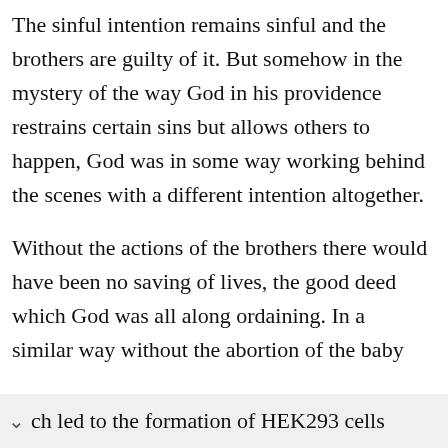The sinful intention remains sinful and the brothers are guilty of it. But somehow in the mystery of the way God in his providence restrains certain sins but allows others to happen, God was in some way working behind the scenes with a different intention altogether.
Without the actions of the brothers there would have been no saving of lives, the good deed which God was all along ordaining. In a similar way without the abortion of the baby ch led to the formation of HEK293 cells